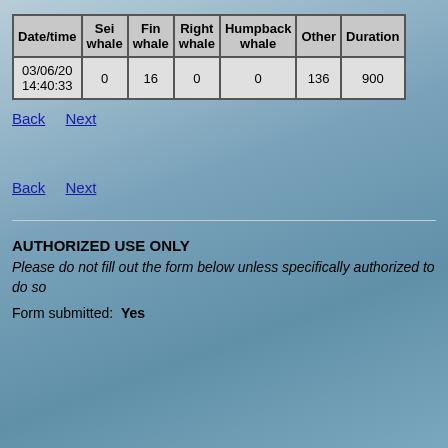| Date/time | Sei whale | Fin whale | Right whale | Humpback whale | Other | Duration |
| --- | --- | --- | --- | --- | --- | --- |
| 03/06/20 14:40:33 | 0 | 16 | 0 | 0 | 136 | 900 |
Back  Next
Back  Next
AUTHORIZED USE ONLY
Please do not fill out the form below unless specifically authorized to do so
Form submitted:  Yes